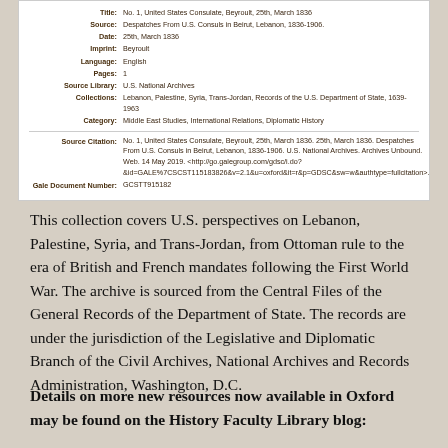[Figure (screenshot): Screenshot of a digital archive record showing metadata fields: Title, Source, Date, Imprint, Language, Pages, Source Library, Collections, Category, Source Citation, and Gale Document Number for a U.S. Consulate dispatch from Beirut, Lebanon, 1836.]
This collection covers U.S. perspectives on Lebanon, Palestine, Syria, and Trans-Jordan, from Ottoman rule to the era of British and French mandates following the First World War. The archive is sourced from the Central Files of the General Records of the Department of State. The records are under the jurisdiction of the Legislative and Diplomatic Branch of the Civil Archives, National Archives and Records Administration, Washington, D.C.
Details on more new resources now available in Oxford may be found on the History Faculty Library blog: